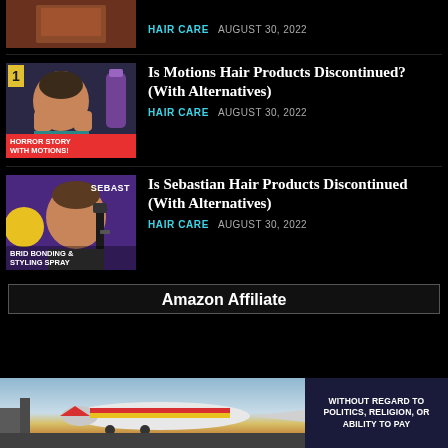[Figure (screenshot): Partial thumbnail of hair-related article at top of page]
HAIR CARE   AUGUST 30, 2022
[Figure (screenshot): Thumbnail showing woman with hands on face, text 'HORROR STORY WITH MOTIONS!' on red bar at bottom]
Is Motions Hair Products Discontinued? (With Alternatives)
HAIR CARE   AUGUST 30, 2022
[Figure (screenshot): Thumbnail showing man with hair styling tool, text 'SEBAST' and 'BRID BONDING & STYLING SPRAY']
Is Sebastian Hair Products Discontinued (With Alternatives)
HAIR CARE   AUGUST 30, 2022
Amazon Affiliate
[Figure (photo): Advertisement banner showing airplane and text WITHOUT REGARD TO POLITICS, RELIGION, OR ABILITY TO PAY]